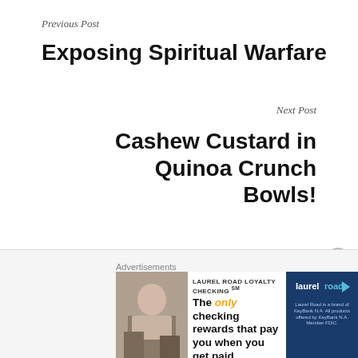Previous Post
Exposing Spiritual Warfare
Next Post
Cashew Custard in Quinoa Crunch Bowls!
213 THOUGHTS ON “THE TRAP OF INDECISION”
Advertisements
[Figure (screenshot): Advertisement banner for Laurel Road Loyalty Checking showing a woman, text 'LAUREL ROAD LOYALTY CHECKING SM - The only checking rewards that pay you when you get paid.' and Laurel Road logo on dark blue background]